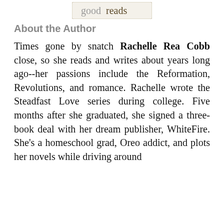goodreads
About the Author
Times gone by snatch Rachelle Rea Cobb close, so she reads and writes about years long ago--her passions include the Reformation, Revolutions, and romance. Rachelle wrote the Steadfast Love series during college. Five months after she graduated, she signed a three-book deal with her dream publisher, WhiteFire. She's a homeschool grad, Oreo addict, and plots her novels while driving around